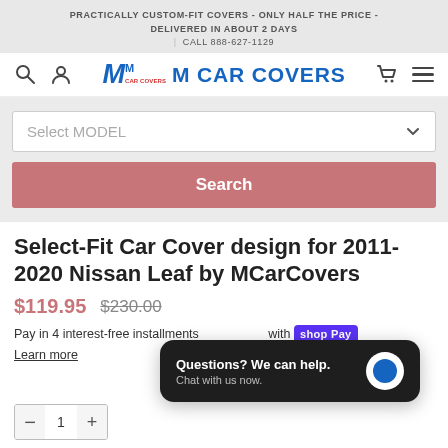PRACTICALLY CUSTOM-FIT COVERS - ONLY HALF THE PRICE - DELIVERED IN ABOUT 2 DAYS | CALL 888-627-1129
[Figure (logo): M Car Covers logo with blue bold text]
Select MODEL (dropdown)
Search
Select-Fit Car Cover design for 2011-2020 Nissan Leaf by MCarCovers
$119.95  $230.00
Pay in 4 interest-free installments with shop Pay. Learn more
Questions? We can help. Chat with us now.